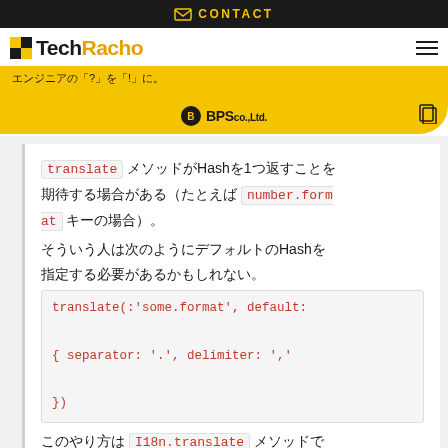CONTACT
TechRacho エンジニアの「?」を「!」に。 BPS co.,Ltd.
translate メソッドがHashを1つ返すことを期待する場合がある（たとえば number.format キーの場合）。
そういう人は次のようにデフォルトのHashを指定する必要があるかもしれない。
translate(:'some.format', default:
{ separator: '.', delimiter: ','
})
このやり方は I18n.translate メソッドで期待される動作するズアースしない。